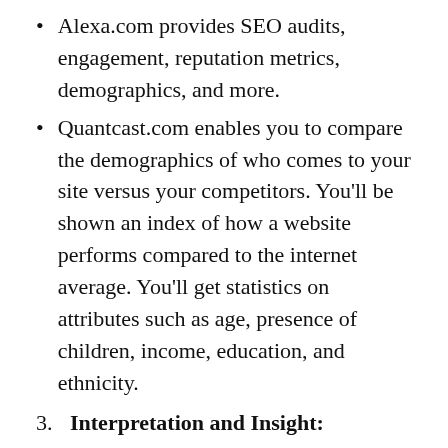Alexa.com provides SEO audits, engagement, reputation metrics, demographics, and more.
Quantcast.com enables you to compare the demographics of who comes to your site versus your competitors. You'll be shown an index of how a website performs compared to the internet average. You'll get statistics on attributes such as age, presence of children, income, education, and ethnicity.
Interpretation and Insight: Now that you've conducted research, you're positioned to interpret the data to create your own insights. This is where creativity needs to kick in and where you need to consider the type of individual who will